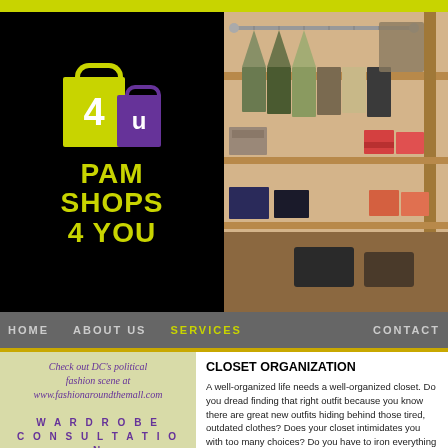[Figure (logo): Pam Shops 4 You logo — green and purple shopping bags with '4' and 'u' text, lime green brand name 'PAM SHOPS 4 YOU', on black background]
[Figure (photo): Photo of a clothing store interior with wooden shelves and hanging clothes]
HOME   ABOUT US   SERVICES   CONTACT
Check out DC's political fashion scene at www.fashionaroundthemall.com
WARDROBE CONSULTATION
CLOSET ORGANIZATION
A well-organized life needs a well-organized closet. Do you dread finding that right outfit because you know there are great new outfits hiding behind those tired, outdated clothes? Does your closet intimidates you with too many choices? Do you have to iron everything before that important meeting to get it crease free? Simplify your life – Take Control! We will help you organize your closet and your life. Pamela and Alexis are fashion professionals who will identify the problems and solve them for you. How